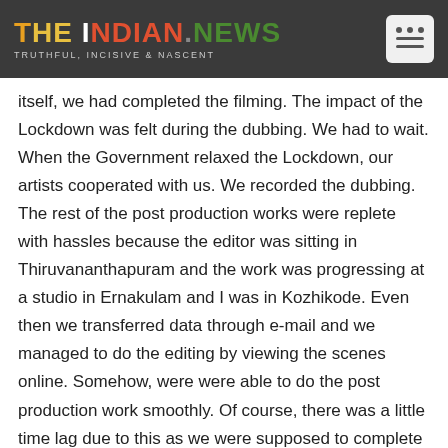THE INDIAN.NEWS | TRUTHFUL, INCISIVE & NASCENT
itself, we had completed the filming. The impact of the Lockdown was felt during the dubbing. We had to wait. When the Government relaxed the Lockdown, our artists cooperated with us. We recorded the dubbing. The rest of the post production works were replete with hassles because the editor was sitting in Thiruvananthapuram and the work was progressing at a studio in Ernakulam and I was in Kozhikode. Even then we transferred data through e-mail and we managed to do the editing by viewing the scenes online. Somehow, were were able to do the post production work smoothly. Of course, there was a little time lag due to this as we were supposed to complete the movie in late March or early April. We were able to complete the film only now.
TIN: Can you talk about the impasse, which was created